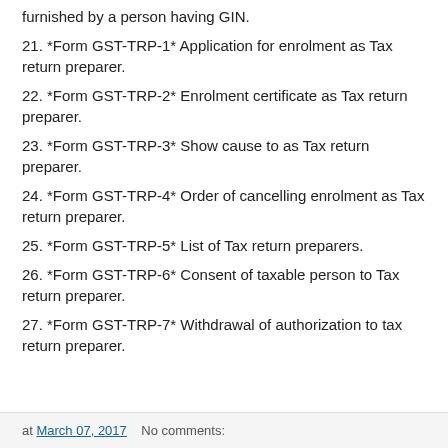furnished by a person having GIN.
21. *Form GST-TRP-1* Application for enrolment as Tax return preparer.
22. *Form GST-TRP-2* Enrolment certificate as Tax return preparer.
23. *Form GST-TRP-3* Show cause to as Tax return preparer.
24. *Form GST-TRP-4* Order of cancelling enrolment as Tax return preparer.
25. *Form GST-TRP-5* List of Tax return preparers.
26. *Form GST-TRP-6* Consent of taxable person to Tax return preparer.
27. *Form GST-TRP-7* Withdrawal of authorization to tax return preparer.
at March 07, 2017   No comments: